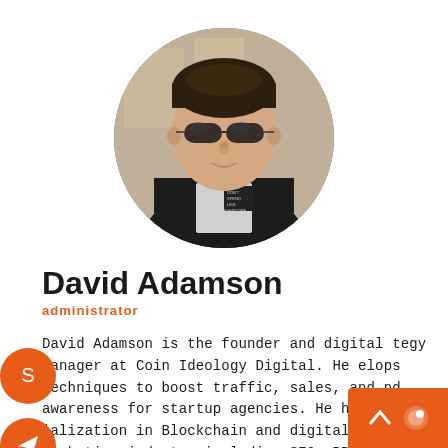[Figure (photo): Circular profile photo of David Adamson wearing sunglasses and a dark jacket, standing in front of a graffiti wall]
David Adamson
administrator
David Adamson is the founder and digital strategy manager at Coin Ideology Digital. He develops techniques to boost traffic, sales, and brand awareness for startup agencies. He has specialization in Blockchain and digital marketing industry including SEO, PPC, SM